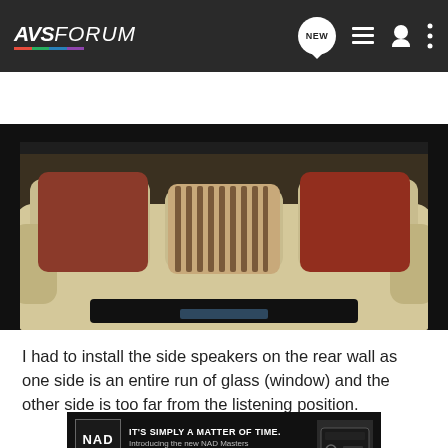AVS FORUM — Search Community
[Figure (photo): Photo of a beige/cream sofa with decorative pillows — two brown solid pillows on the sides and one striped brown/cream pillow in the center. The sofa is in a dimly lit room. A dark glass coffee table is partially visible in the foreground.]
I had to install the side speakers on the rear wall as one side is an entire run of glass (window) and the other side is too far from the listening position.
[Figure (infographic): NAD advertisement banner: IT'S SIMPLY A MATTER OF TIME. Introducing the new NAD Masters M33 Amplifier. DISCOVER]